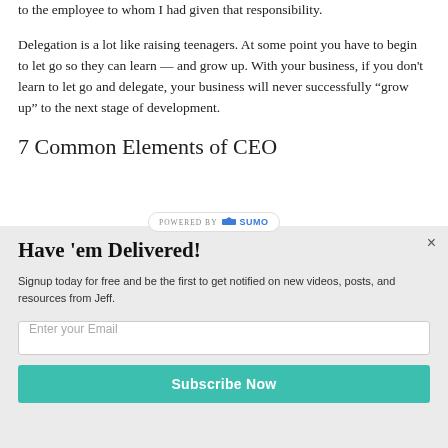to the employee to whom I had given that responsibility.
Delegation is a lot like raising teenagers. At some point you have to begin to let go so they can learn — and grow up. With your business, if you don't learn to let go and delegate, your business will never successfully “grow up” to the next stage of development.
7 Common Elements of CEO
[Figure (other): POWERED BY SUMO badge overlay]
Have 'em Delivered!
Signup today for free and be the first to get notified on new videos, posts, and resources from Jeff.
Enter your Email
Subscribe Now